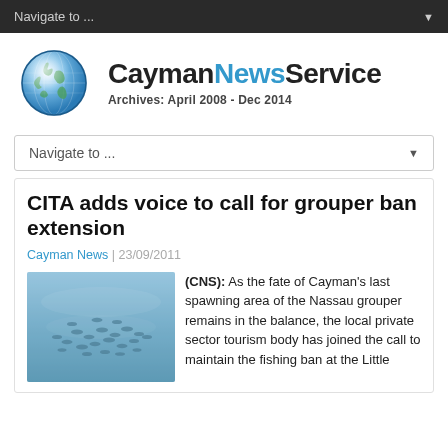Navigate to ...
[Figure (logo): CaymanNewsService logo with globe icon. Text reads: CaymanNewsService Archives: April 2008 - Dec 2014]
Navigate to ...
CITA adds voice to call for grouper ban extension
Cayman News | 23/09/2011
[Figure (photo): Underwater photo showing a school of fish swimming in blue-green water]
(CNS): As the fate of Cayman's last spawning area of the Nassau grouper remains in the balance, the local private sector tourism body has joined the call to maintain the fishing ban at the Little